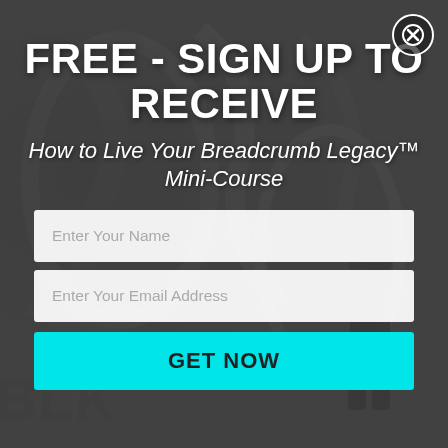[Figure (photo): Grayscale background showing a graffiti/mural wall with a person standing in front of it. Dark overlay applied.]
FREE - SIGN UP TO RECEIVE
How to Live Your Breadcrumb Legacy™ Mini-Course
Enter Your Name
Enter Your Email Address
GET NOW